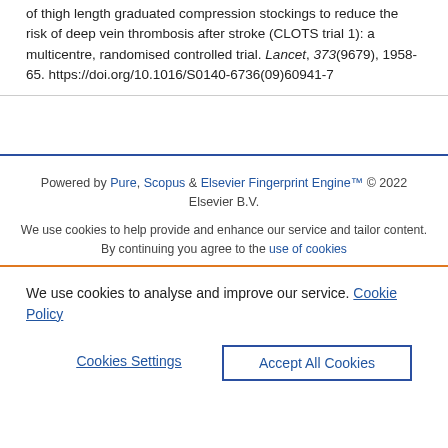of thigh length graduated compression stockings to reduce the risk of deep vein thrombosis after stroke (CLOTS trial 1): a multicentre, randomised controlled trial. Lancet, 373(9679), 1958-65. https://doi.org/10.1016/S0140-6736(09)60941-7
Powered by Pure, Scopus & Elsevier Fingerprint Engine™ © 2022 Elsevier B.V.
We use cookies to help provide and enhance our service and tailor content. By continuing you agree to the use of cookies
We use cookies to analyse and improve our service. Cookie Policy
Cookies Settings
Accept All Cookies